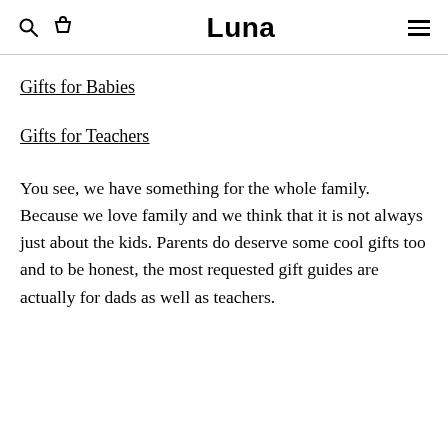Luna
Gifts for Babies
Gifts for Teachers
You see, we have something for the whole family. Because we love family and we think that it is not always just about the kids. Parents do deserve some cool gifts too and to be honest, the most requested gift guides are actually for dads as well as teachers.